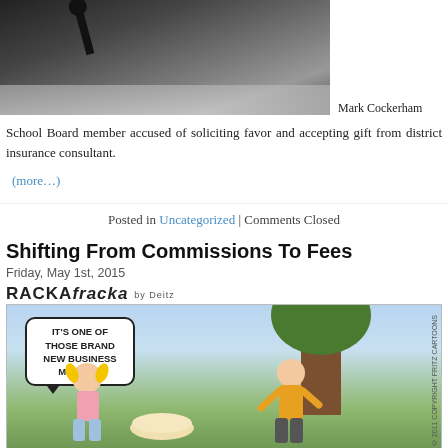[Figure (photo): Photo of a person at a desk with a microphone, likely at a board meeting. Photo credit: Mark Cockerham]
School Board member accused of soliciting favor and accepting gift from district insurance consultant.
(more...)
Posted in Uncategorized | Comments Closed
Shifting From Commissions To Fees
Friday, May 1st, 2015
[Figure (illustration): RACKAfracka cartoon by Deitz showing a girl and a man outdoors near a tree. Speech bubble reads: IT'S ONE OF THOSE BRAND NEW BUSINESS MODELS. Copyright 2011 Fritz Cartoons.]